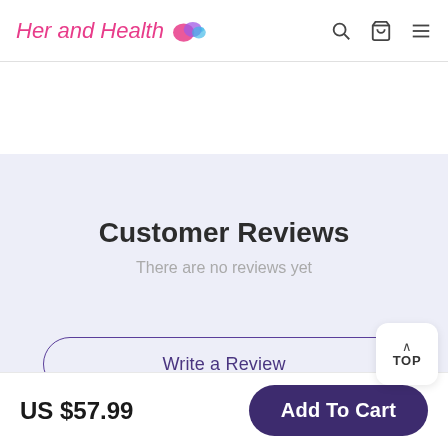Her and Health
Customer Reviews
There are no reviews yet
Write a Review
TOP
US $57.99
Add To Cart